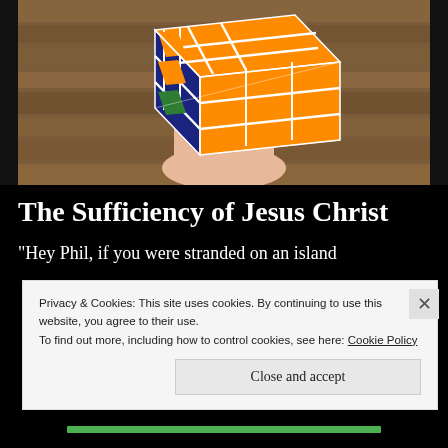[Figure (photo): A hand holding a Rubik's cube with orange and dark blue/navy faces visible, one face showing green, against a wooden plank background.]
The Sufficiency of Jesus Christ
“Hey Phil, if you were stranded on an island
Privacy & Cookies: This site uses cookies. By continuing to use this website, you agree to their use.
To find out more, including how to control cookies, see here: Cookie Policy
Close and accept